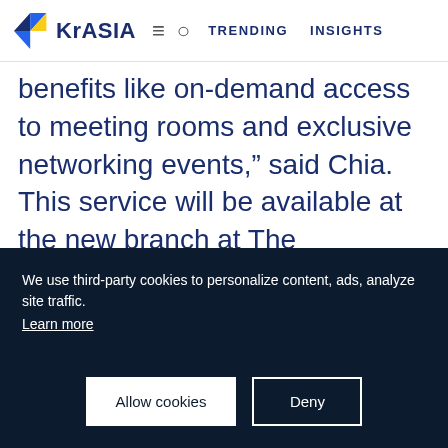KrASIA | TRENDING | INSIGHTS
benefits like on-demand access to meeting rooms and exclusive networking events," said Chia. This service will be available at the new branch at The Centrepoint in Singapore, slated to open before the end of the year.
Workbuddy is also planning for further growth and doubles down on the number of floating desks. Flexible work solutions
We use third-party cookies to personalize content, ads, analyze site traffic. Learn more
Allow cookies
Deny